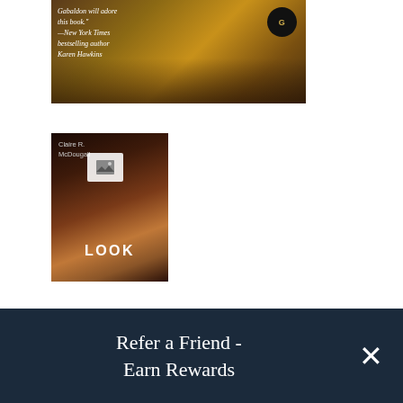[Figure (photo): Top portion of a book cover with warm brown/golden tones, italic quote text and a publisher badge visible]
[Figure (photo): Second book cover for 'Veil of Time' by Claire R. McDougall with dark brown/amber tones, featuring a 'LOOK' button overlay with a mountain/image icon]
Veil of Time
By Claire R. McDougall
Trade Paperback
LIST PRICE $24.99
Refer a Friend - Earn Rewards